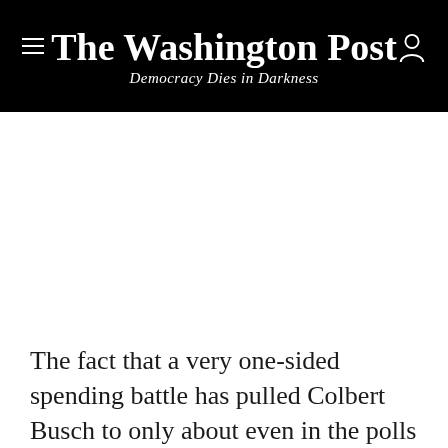The Washington Post
Democracy Dies in Darkness
The fact that a very one-sided spending battle has pulled Colbert Busch to only about even in the polls